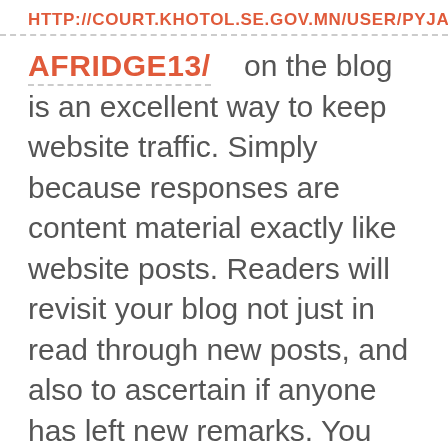HTTP://COURT.KHOTOL.SE.GOV.MN/USER/PYJAM
AFRIDGE13/    on the blog is an excellent way to keep website traffic. Simply because responses are content material exactly like website posts. Readers will revisit your blog not just in read through new posts, and also to ascertain if anyone has left new remarks. You can promote writing comments by asking them questions and inquiring regarding your readers' viewpoints with your blog site content articles. Answering remarks also encourages writing comments.
Give your potential customers the many